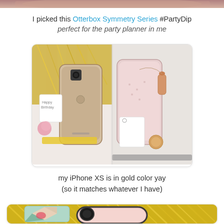[Figure (photo): Partial image of a person at the very top of the page, cropped]
I picked this Otterbox Symmetry Series #PartyDip
perfect for the party planner in me
[Figure (photo): Two iPhone XS phones with OtterBox cases surrounded by party decorations, gift tags, and rose gold accessories on a white surface]
my iPhone XS is in gold color yay
(so it matches whatever I have)
[Figure (photo): Close-up of a pink OtterBox phone case with geometric patterned accessory and gold tinsel decorations]